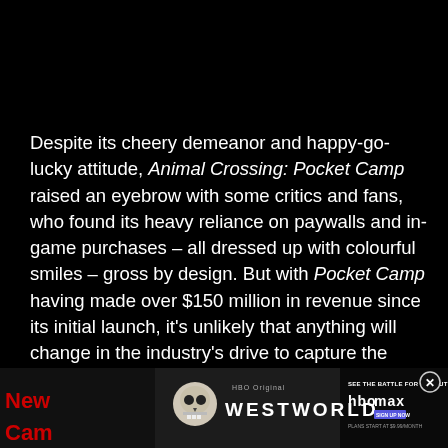Despite its cheery demeanor and happy-go-lucky attitude, Animal Crossing: Pocket Camp raised an eyebrow with some critics and fans, who found its heavy reliance on paywalls and in-game purchases – all dressed up with colourful smiles – gross by design. But with Pocket Camp having made over $150 million in revenue since its initial launch, it's unlikely that anything will change in the industry's drive to capture the lucrative mobile market.
[Figure (screenshot): Advertisement banner for Westworld on HBO Max showing a robot skull, the Westworld title, and HBO Max branding with 'See the Battle for the Future' text and sign up call to action. Partially overlaid by red text reading 'New' and 'Cam' on the left side.]